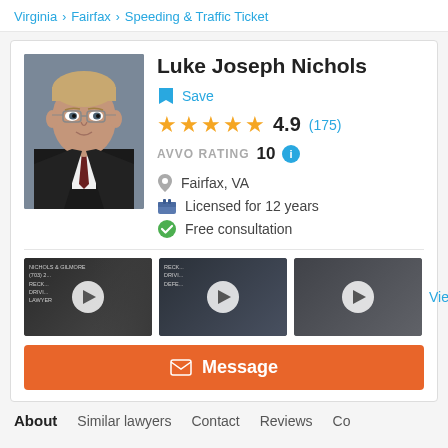Virginia > Fairfax > Speeding & Traffic Ticket
Luke Joseph Nichols
Save
4.9 (175)
AVVO RATING 10
Fairfax, VA
Licensed for 12 years
Free consultation
[Figure (screenshot): Three video thumbnails of Luke Joseph Nichols with play buttons, followed by a 'View more' link]
Message
About  Similar lawyers  Contact  Reviews  Co